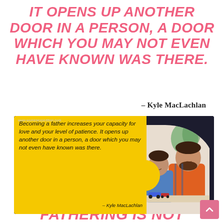IT OPENS UP ANOTHER DOOR IN A PERSON, A DOOR WHICH YOU MAY NOT EVEN HAVE KNOWN WAS THERE.
– Kyle MacLachlan
[Figure (photo): Quote card image with dark background, yellow panel showing the Kyle MacLachlan quote in cursive italic text, a yellow decorative circle, and a photo of a bearded father in orange shirt with a young boy, appearing to play with toy cars.]
FATHERING IS NOT